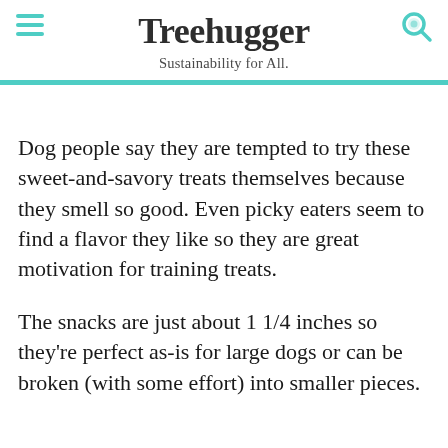Treehugger — Sustainability for All.
Dog people say they are tempted to try these sweet-and-savory treats themselves because they smell so good. Even picky eaters seem to find a flavor they like so they are great motivation for training treats.
The snacks are just about 1 1/4 inches so they're perfect as-is for large dogs or can be broken (with some effort) into smaller pieces.